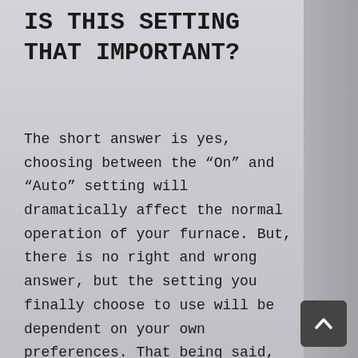IS THIS SETTING THAT IMPORTANT?
The short answer is yes, choosing between the “On” and “Auto” setting will dramatically affect the normal operation of your furnace. But, there is no right and wrong answer, but the setting you finally choose to use will be dependent on your own preferences. That being said, we do favor one over the other because it has greater energy efficiency benefits with no loss of performance. The “On” and “Auto” setting control the behaviour of the furnace fan (blower)